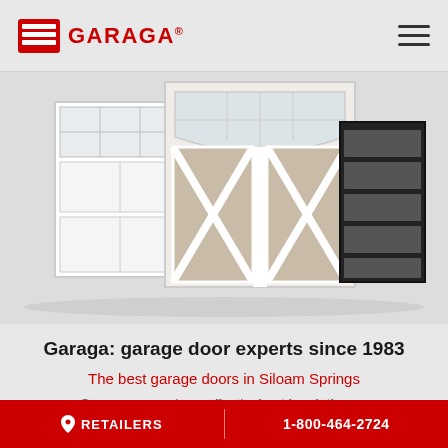GARAGA®
[Figure (photo): Three garage doors displayed side by side: a white single door with grid windows on the left, a double door with arched window top and X-cross panels in beige/white in the center, and a black modern door with horizontal slats on the right.]
Garaga: garage door experts since 1983
The best garage doors in Siloam Springs
Garaga garage doors offer the best insulation on
RETAILERS  1-800-464-2724